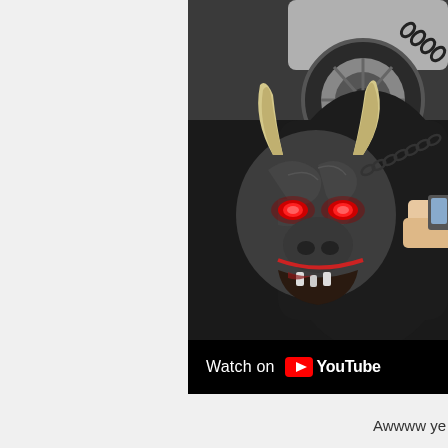[Figure (screenshot): A YouTube video embed showing a dark monster/creature costume with gray textured skin, red glowing eyes, horns, and chains, being held by a person. The creature resembles a demonic bull or beast. A 'Watch on YouTube' bar appears at the bottom of the video frame.]
Awwww ye